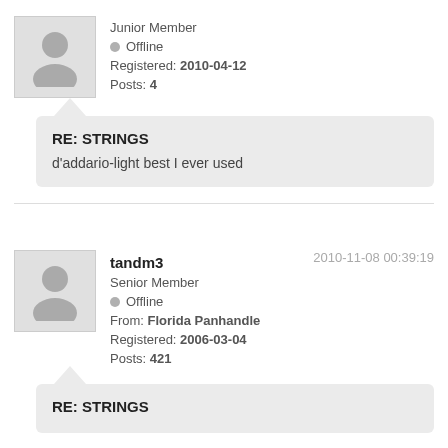Junior Member
Offline
Registered: 2010-04-12
Posts: 4
RE: STRINGS
d'addario-light best I ever used
2010-11-08 00:39:19
tandm3
Senior Member
Offline
From: Florida Panhandle
Registered: 2006-03-04
Posts: 421
RE: STRINGS